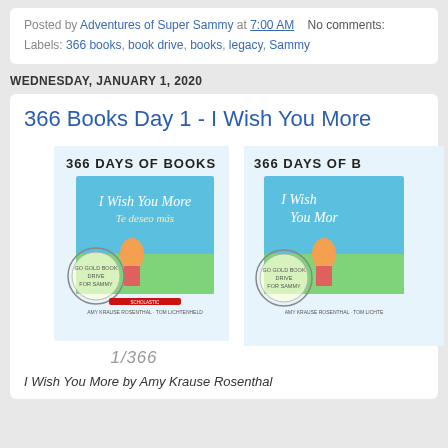Posted by Adventures of Super Sammy at 7:00 AM   No comments:
Labels: 366 books, book drive, books, legacy, Sammy
WEDNESDAY, JANUARY 1, 2020
366 Books Day 1 - I Wish You More
[Figure (photo): Two book cover images for '366 Days of Books' featuring 'I Wish You More / Te deseo más' with a Go Gold Book Drive For Sammy stamp. Counter label '1/366' below.]
I Wish You More by Amy Krause Rosenthal